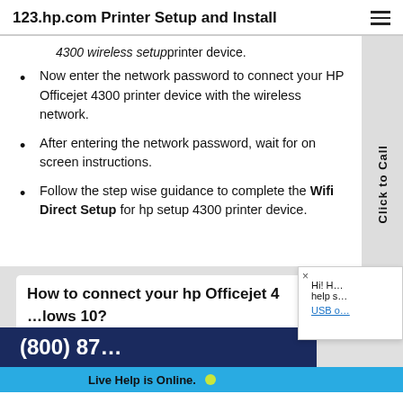123.hp.com Printer Setup and Install
4300 wireless setup printer device.
Now enter the network password to connect your HP Officejet 4300 printer device with the wireless network.
After entering the network password, wait for on screen instructions.
Follow the step wise guidance to complete the Wifi Direct Setup for hp setup 4300 printer device.
How to connect your hp Officejet 4300 … Windows 10?
(800) 87…
Live Help is Online.